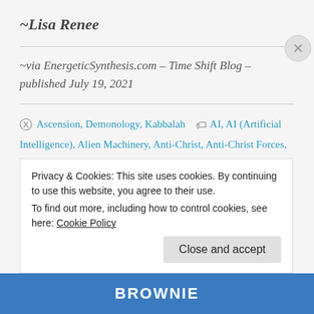~Lisa Renee
~via EnergeticSynthesis.com – Time Shift Blog – published July 19, 2021
Ascension, Demonology, Kabbalah   AI, AI (Artificial Intelligence), Alien Machinery, Anti-Christ, Anti-Christ Forces, Anti-Christ Representatives, Antichrist, Apocalypse, Apocalypse Programming, Apocalypse Programs, Ars
Privacy & Cookies: This site uses cookies. By continuing to use this website, you agree to their use. To find out more, including how to control cookies, see here: Cookie Policy
Close and accept